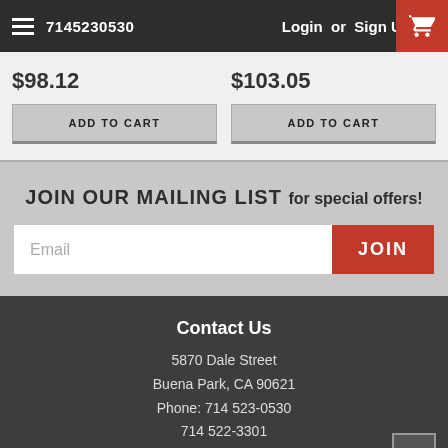7145230530  Login or Sign Up
$98.12
ADD TO CART
$103.05
ADD TO CART
JOIN OUR MAILING LIST for special offers!
Email  JOIN
Contact Us
5870 Dale Street
Buena Park, CA 90621
Phone: 714 523-0530
714 522-3301
800 454-7999
Accounts & Orders